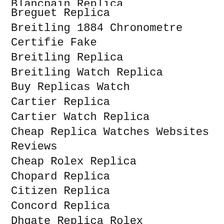Blancpain Replica (partial/clipped)
Breguet Replica
Breitling 1884 Chronometre Certifie Fake
Breitling Replica
Breitling Watch Replica
Buy Replicas Watch
Cartier Replica
Cartier Watch Replica
Cheap Replica Watches Websites Reviews
Cheap Rolex Replica
Chopard Replica
Citizen Replica
Concord Replica
Dhgate Replica Rolex
Fake Bell And Ross
Fake Diamond Rolex Watches
Fake Gold Watches For Sale
Fake Rolex Prices
Fake Toy Watches On Ebay (partial/clipped)